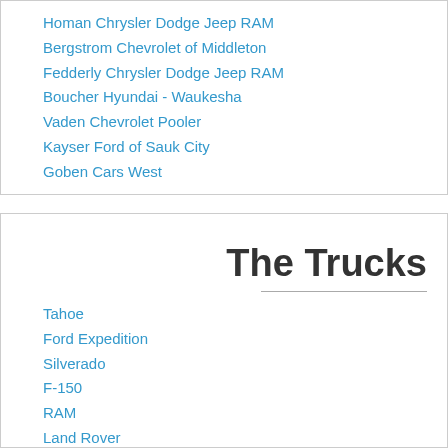Homan Chrysler Dodge Jeep RAM
Bergstrom Chevrolet of Middleton
Fedderly Chrysler Dodge Jeep RAM
Boucher Hyundai - Waukesha
Vaden Chevrolet Pooler
Kayser Ford of Sauk City
Goben Cars West
The Trucks
Tahoe
Ford Expedition
Silverado
F-150
RAM
Land Rover
GMC
Ford Excursion